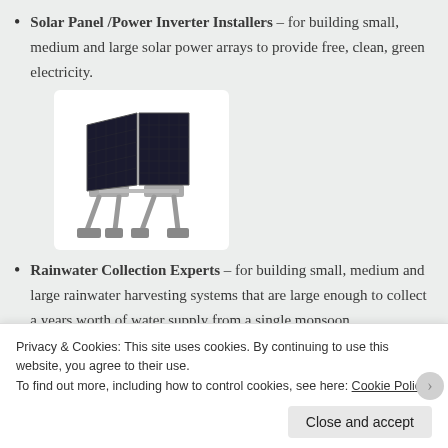Solar Panel /Power Inverter Installers – for building small, medium and large solar power arrays to provide free, clean, green electricity.
[Figure (photo): Photograph of solar panels mounted on a frame/stand, shown on a white background.]
Rainwater Collection Experts – for building small, medium and large rainwater harvesting systems that are large enough to collect a years worth of water supply from a single monsoon thunderstorms.
[Figure (photo): Partially visible image at bottom, appears to be a rainwater harvesting system.]
Privacy & Cookies: This site uses cookies. By continuing to use this website, you agree to their use.
To find out more, including how to control cookies, see here: Cookie Policy
Close and accept